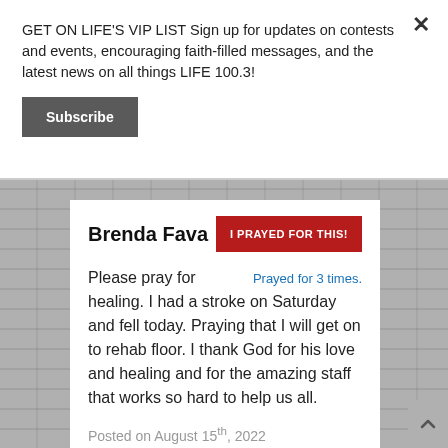GET ON LIFE'S VIP LIST Sign up for updates on contests and events, encouraging faith-filled messages, and the latest news on all things LIFE 100.3!
Subscribe
Brenda Fava
I PRAYED FOR THIS!
Prayed for 3 times.
Please pray for healing. I had a stroke on Saturday and fell today. Praying that I will get on to rehab floor. I thank God for his love and healing and for the amazing staff that works so hard to help us all.
Posted on August 15th, 2022